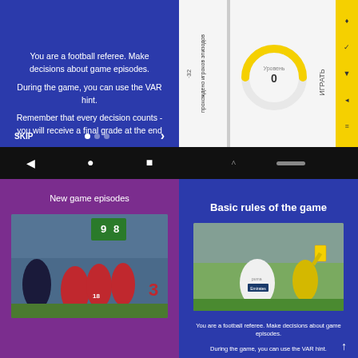[Figure (screenshot): Mobile app screenshot: football referee game app intro screen with dark blue background, white text instructions, navigation dots and skip button, Android navigation bar]
[Figure (screenshot): Mobile app screenshot: game level selection screen with white/yellow background, circular score indicator showing 0, rotated Russian text, yellow sidebar with icons]
New game episodes
[Figure (photo): Football match photo: Liverpool players in red celebrating, crowd in background, scoreboard visible]
Basic rules of the game
[Figure (photo): Football match photo: referee showing yellow card to Arsenal player (Emirates jersey), referee in yellow vest]
You are a football referee. Make decisions about game episodes.

During the game, you can use the VAR hint.